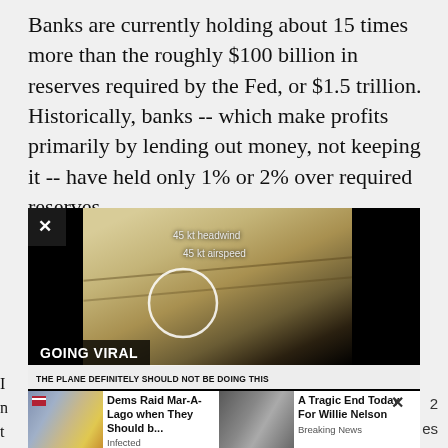Banks are currently holding about 15 times more than the roughly $100 billion in reserves required by the Fed, or $1.5 trillion. Historically, banks -- which make profits primarily by lending out money, not keeping it -- have held only 1% or 2% over required reserves.
[Figure (screenshot): Video player screenshot showing aerial footage of farmland with HUD text '45 kt headwind' and '45 kt airspeed', a white circle overlay, 'GOING VIRAL' label and subtitle 'THE PLANE DEFINITELY SHOULD NOT BE DOING THIS'. Two advertisement thumbnails visible below: 'Dems Raid Mar-A-Lago when They Should b...' (Infected) and 'A Tragic End Today For Willie Nelson' (Breaking News).]